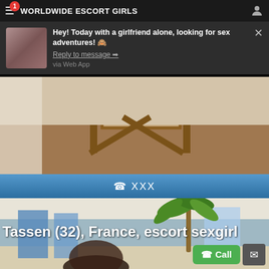WORLDWIDE ESCORT GIRLS
Hey! Today with a girlfriend alone, looking for sex adventures! 🙈
Reply to message ➡
via Web App
[Figure (screenshot): Background photo of a room with wooden furniture on a wooden floor]
📞 XXX
[Figure (photo): Outdoor photo with person, palm tree, blue panels, sea in background]
Tassen (32), France, escort sexgirl
📞 Call
[Figure (other): Envelope/message icon button]